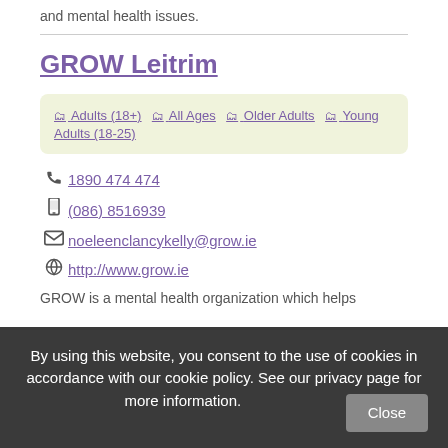and mental health issues.
GROW Leitrim
Adults (18+)  All Ages  Older Adults  Young Adults (18-25)
1890 474 474
(086) 8516939
noeleenclancykelly@grow.ie
http://www.grow.ie
GROW is a mental health organization which helps
By using this website, you consent to the use of cookies in accordance with our cookie policy. See our privacy page for more information. Close